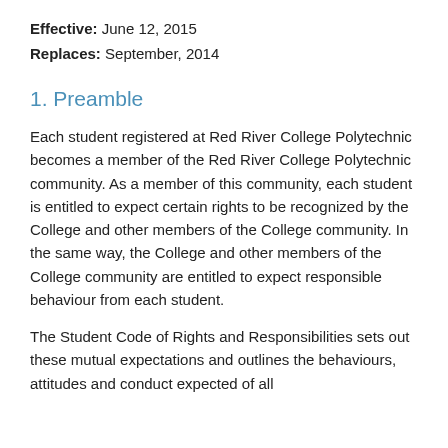Effective: June 12, 2015
Replaces: September, 2014
1. Preamble
Each student registered at Red River College Polytechnic becomes a member of the Red River College Polytechnic community. As a member of this community, each student is entitled to expect certain rights to be recognized by the College and other members of the College community. In the same way, the College and other members of the College community are entitled to expect responsible behaviour from each student.
The Student Code of Rights and Responsibilities sets out these mutual expectations and outlines the behaviours, attitudes and conduct expected of all